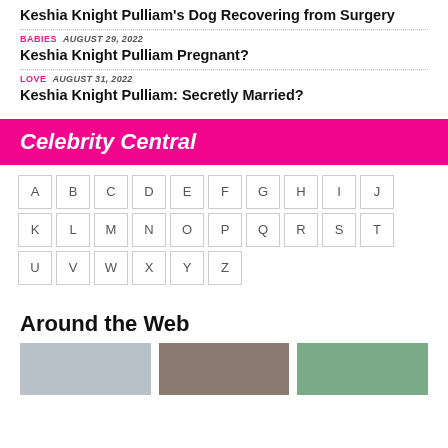Keshia Knight Pulliam's Dog Recovering from Surgery
BABIES  AUGUST 29, 2022
Keshia Knight Pulliam Pregnant?
LOVE  AUGUST 31, 2022
Keshia Knight Pulliam: Secretly Married?
Celebrity Central
[Figure (other): Alphabetical A-Z grid navigation with bordered letter cells. Letters A through L on first row, M through X on second row, Y and Z on third row.]
Around the Web
[Figure (photo): Three partial celebrity photo thumbnails side by side]